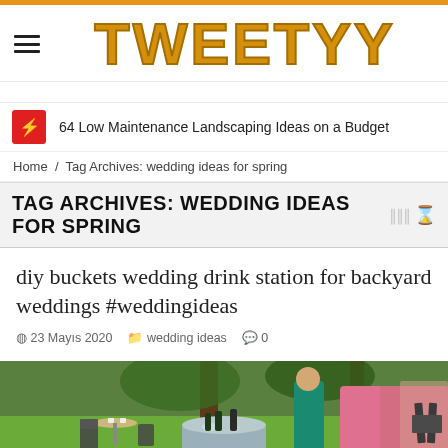TWEETYY
64 Low Maintenance Landscaping Ideas on a Budget
Home / Tag Archives: wedding ideas for spring
TAG ARCHIVES: WEDDING IDEAS FOR SPRING
diy buckets wedding drink station for backyard weddings #weddingideas
23 Mayıs 2020   wedding ideas   0
[Figure (photo): Outdoor backyard wedding setting with a galvanized metal bucket filled with ice and drinks, bistro chairs and table in background, trees and people in colorful dresses visible]